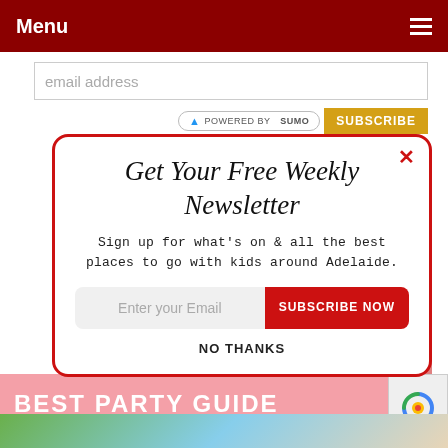Menu
email address
POWERED BY SUMO   SUBSCRIBE
Get Your Free Weekly Newsletter
Sign up for what's on & all the best places to go with kids around Adelaide.
Enter your Email   SUBSCRIBE NOW
NO THANKS
BEST PARTY GUIDE
Privacy · Terms